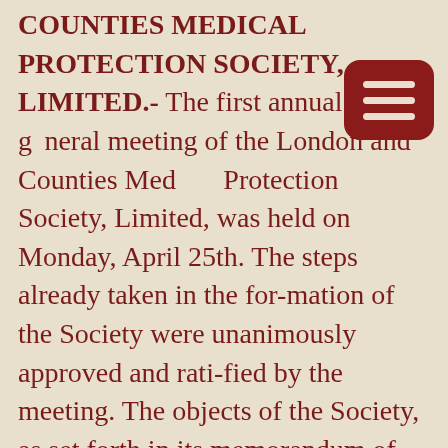COUNTIES MEDICAL PROTECTION SOCIETY, LIMITED.- The first annual general meeting of the London and Counties Medical Protection Society, Limited, was held on Monday, April 25th. The steps already taken in the for-mation of the Society were unanimously approved and rati-fied by the meeting. The objects of the Society, as set forth in its memorandum of association, are: To protect, support, and safeguard the character and interests of legally qualified medical and dental practitioners, and to advise and defend members of the Society when attacked, etc.… The Society dates the commencement of its operations from May 1st, 1892, and the annual subscription of 10s, becomes due in advance on May 1st in each year… the honorary secretaries are Drs. George